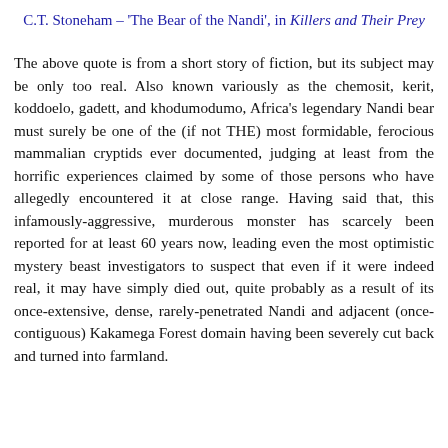C.T. Stoneham – 'The Bear of the Nandi', in Killers and Their Prey
The above quote is from a short story of fiction, but its subject may be only too real. Also known variously as the chemosit, kerit, koddoelo, gadett, and khodumodumo, Africa's legendary Nandi bear must surely be one of the (if not THE) most formidable, ferocious mammalian cryptids ever documented, judging at least from the horrific experiences claimed by some of those persons who have allegedly encountered it at close range. Having said that, this infamously-aggressive, murderous monster has scarcely been reported for at least 60 years now, leading even the most optimistic mystery beast investigators to suspect that even if it were indeed real, it may have simply died out, quite probably as a result of its once-extensive, dense, rarely-penetrated Nandi and adjacent (once-contiguous) Kakamega Forest domain having been severely cut back and turned into farmland.